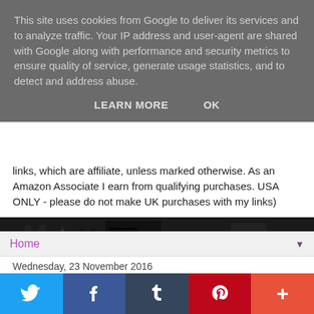This site uses cookies from Google to deliver its services and to analyze traffic. Your IP address and user-agent are shared with Google along with performance and security metrics to ensure quality of service, generate usage statistics, and to detect and address abuse.
LEARN MORE   OK
links, which are affiliate, unless marked otherwise. As an Amazon Associate I earn from qualifying purchases. USA ONLY - please do not make UK purchases with my links)
[Figure (screenshot): Blog header banner with decorative black and white text/graphic elements]
Home
Wednesday, 23 November 2016
Review Time! - The Song of Achilles by Madeline Miller
[Figure (screenshot): Partial view of social share icons]
Twitter share button
Facebook share button
Tumblr share button
Pinterest share button
More share options button